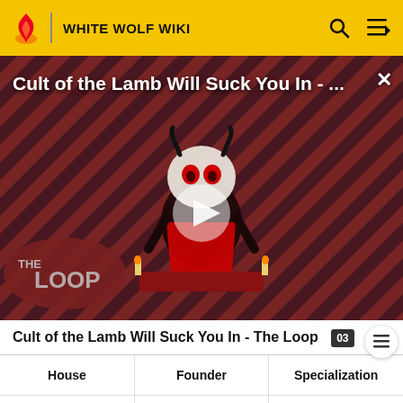WHITE WOLF WIKI
[Figure (screenshot): Video thumbnail for 'Cult of the Lamb Will Suck You In - The Loop' showing animated lamb character on striped red/dark background with THE LOOP badge and play button overlay]
Cult of the Lamb Will Suck You In - The Loop
| House | Founder | Specialization |
| --- | --- | --- |
| House Criamon | Lord Criamon | Enigmas |